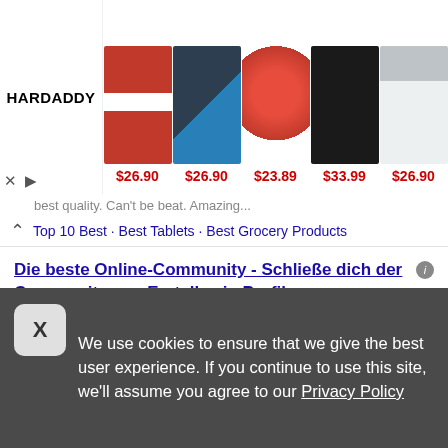[Figure (screenshot): HARDADDY shopping ad banner showing 5 clothing items with prices: $26.90, $26.90, $23.89, $33.99, $26.90]
best quality. Can't be beat. Amazing...
Top 10 Best · Best Tablets · Best Grocery Products
Die beste Online-Community - Schließe dich der Community an - Erstelle ein Profil
Ad https://www.facebook.com/
Schreibe und teile jetzt mit leuten, die du kennst. Lies das neueste aus deiner community! Halte kontakt mit freunden und bekannten. Teile und schreibe, was dir...
Mache mit bei Facebook®
Facebook® Photo Stream
We use cookies to ensure that we give the best user experience. If you continue to use this site, we'll assume you agree to our Privacy Policy